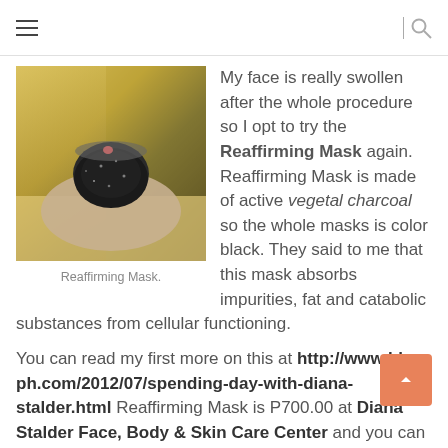☰  |  🔍
[Figure (photo): Person lying face down with a black charcoal mask applied to their face and hair covered, on a spa table with curtains in background.]
Reaffirming Mask.
My face is really swollen after the whole procedure so I opt to try the Reaffirming Mask again. Reaffirming Mask is made of active vegetal charcoal so the whole masks is color black. They said to me that this mask absorbs impurities, fat and catabolic substances from cellular functioning.
You can read my first more on this at http://www.blog-ph.com/2012/07/spending-day-with-diana-stalder.html Reaffirming Mask is P700.00 at Diana Stalder Face, Body & Skin Care Center and you can feel the effect after the